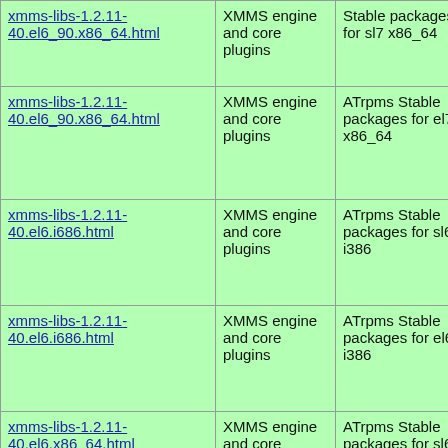| Package | Description | Repository | Link |
| --- | --- | --- | --- |
| xmms-libs-1.2.11-40.el6_90.x86_64.html | XMMS engine and core plugins | ATrpms Stable packages for sl7 x86_64 | xmms-lib...40.el6_90... |
| xmms-libs-1.2.11-40.el6_90.x86_64.html | XMMS engine and core plugins | ATrpms Stable packages for el7 x86_64 | xmms-lib...40.el6_90... |
| xmms-libs-1.2.11-40.el6.i686.html | XMMS engine and core plugins | ATrpms Stable packages for sl6 i386 | xmms-lib... |
| xmms-libs-1.2.11-40.el6.i686.html | XMMS engine and core plugins | ATrpms Stable packages for el6 i386 | xmms-lib... |
| xmms-libs-1.2.11-40.el6.x86_64.html | XMMS engine and core plugins | ATrpms Stable packages for sl6 x86_64 | xmms-lib...40.el6.x8... |
| xmms-libs-1.2.11- | XMMS engine | ATrpms Stable packages... | xmms-lib... |